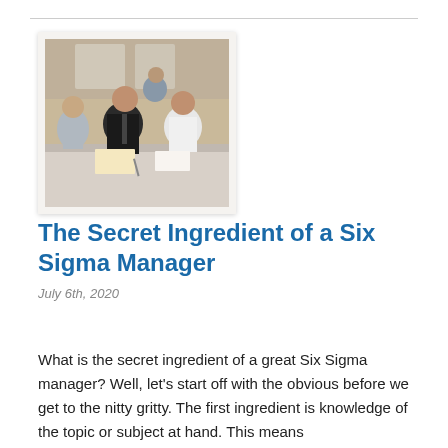[Figure (photo): Business professionals sitting at a table in a meeting or training session, with people writing and engaged in discussion.]
The Secret Ingredient of a Six Sigma Manager
July 6th, 2020
What is the secret ingredient of a great Six Sigma manager? Well, let’s start off with the obvious before we get to the nitty gritty. The first ingredient is knowledge of the topic or subject at hand. This means